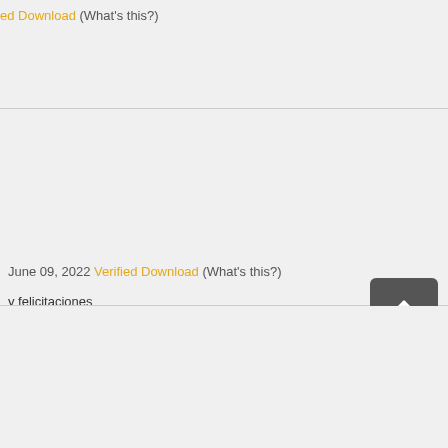ed Download (What's this?)
June 09, 2022 Verified Download (What's this?)
y felicitaciones
[Figure (other): Back to top button with upward arrow]
ownload (What's this?)